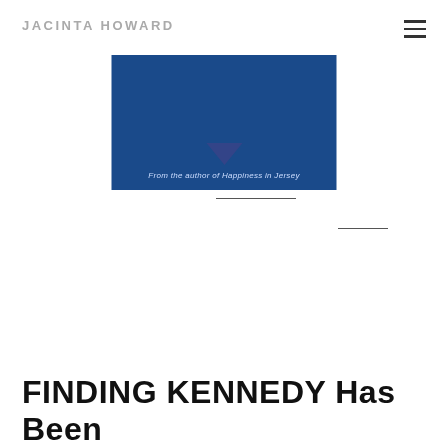JACINTA HOWARD
[Figure (illustration): Book cover image with dark blue background showing text 'From the author of Happiness in Jersey' with a person partially visible and a diamond/triangle shape]
FINDING KENNEDY Has Been